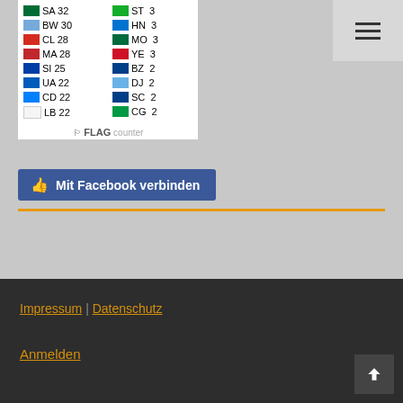[Figure (screenshot): Flag counter widget showing country codes and visit counts in two columns: SA 32, ST 3, BW 30, HN 3, CL 28, MO 3, MA 28, YE 3, SI 25, BZ 2, UA 22, DJ 2, CD 22, SC 2, LB 22, CG 2. FLAG counter logo at bottom.]
Mit Facebook verbinden
Impressum | Datenschutz
Anmelden